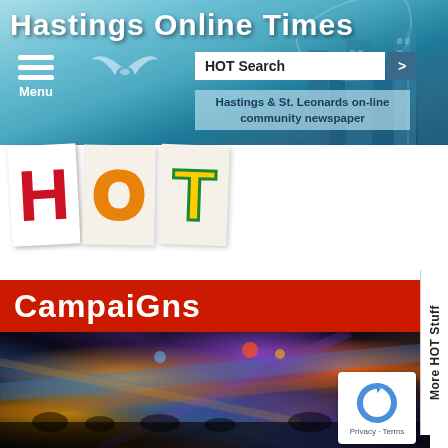[Figure (screenshot): Hastings Online Times website header with city skyline background, bird flying, HOT logo with H in red, O in orange outline, T in yellow/green, menu icon, search box, and community newspaper tagline]
Hastings Online Times
HOT Search
Hastings & St. Leonards on-line community newspaper
CampaiGns
[Figure (photo): Nightclub interior with colorful light streaks in blue, purple, orange and yellow against a dark background, with crowd silhouettes visible]
More HOT Stuff
Privacy · Terms